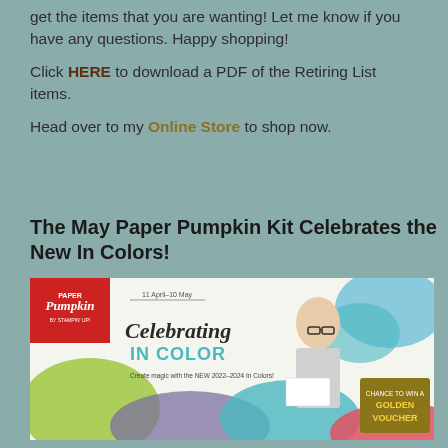get the items that you are wanting! Let me know if you have any questions.  Happy shopping!
Click HERE to download a PDF of the Retiring List items.
Head over to my Online Store to shop now.
The May Paper Pumpkin Kit Celebrates the New In Colors!
[Figure (photo): Paper Pumpkin promotional banner showing 'Celebrating IN COLOR' text with a woman holding a card, colorful shapes, Paper Pumpkin logo, dates 11 April-10 May, tagline 'Create magic with the NEW 2022-2024 In Colors!' and 'CHANCE TO WIN A GOLDEN VOUCHER' badge.]